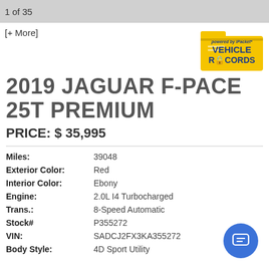1 of 35
[+ More]
[Figure (logo): powered by iPacket VEHICLE RECORDS badge, gold folder icon with blue text]
2019 JAGUAR F-PACE 25T PREMIUM
PRICE: $ 35,995
| Miles: | 39048 |
| Exterior Color: | Red |
| Interior Color: | Ebony |
| Engine: | 2.0L I4 Turbocharged |
| Trans.: | 8-Speed Automatic |
| Stock# | P355272 |
| VIN: | SADCJ2FX3KA355272 |
| Body Style: | 4D Sport Utility |